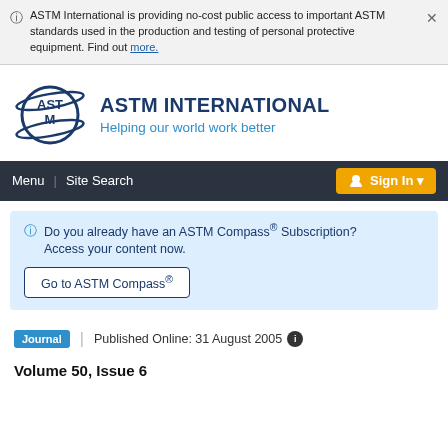ASTM International is providing no-cost public access to important ASTM standards used in the production and testing of personal protective equipment. Find out more.
[Figure (logo): ASTM International logo with globe and swoosh design]
ASTM INTERNATIONAL
Helping our world work better
Menu | Site Search | Sign In
Do you already have an ASTM Compass® Subscription? Access your content now.
Go to ASTM Compass®
Journal | Published Online: 31 August 2005
Volume 50, Issue 6